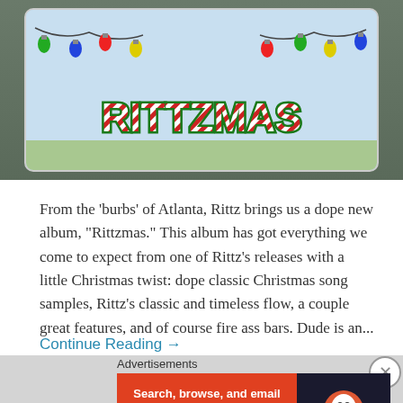[Figure (illustration): Rittzmas album cover illustration showing cartoon characters with Christmas lights and candy-cane styled 'RITTZMAS' text banner on a light blue background]
From the 'burbs' of Atlanta, Rittz brings us a dope new album, "Rittzmas." This album has got everything we come to expect from one of Rittz's releases with a little Christmas twist: dope classic Christmas song samples, Rittz's classic and timeless flow, a couple great features, and of course fire ass bars. Dude is an...
Continue Reading →
Advertisements
[Figure (screenshot): DuckDuckGo advertisement banner: orange background with text 'Search, browse, and email with more privacy. All in One Free App' and DuckDuckGo duck logo on dark background]